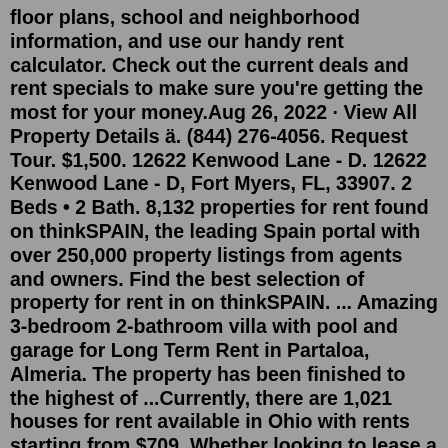floor plans, school and neighborhood information, and use our handy rent calculator. Check out the current deals and rent specials to make sure you're getting the most for your money.Aug 26, 2022 · View All Property Details ä. (844) 276-4056. Request Tour. $1,500. 12622 Kenwood Lane - D. 12622 Kenwood Lane - D, Fort Myers, FL, 33907. 2 Beds • 2 Bath. 8,132 properties for rent found on thinkSPAIN, the leading Spain portal with over 250,000 property listings from agents and owners. Find the best selection of property for rent in on thinkSPAIN. ... Amazing 3-bedroom 2-bathroom villa with pool and garage for Long Term Rent in Partaloa, Almeria. The property has been finished to the highest of ...Currently, there are 1,021 houses for rent available in Ohio with rents starting from $709. Whether looking to lease a luxury house with panoramic views, a spacious single-family home or a cozy residence in a pet-friendly community, you can use our advanced search tools to find the home that best caters to your